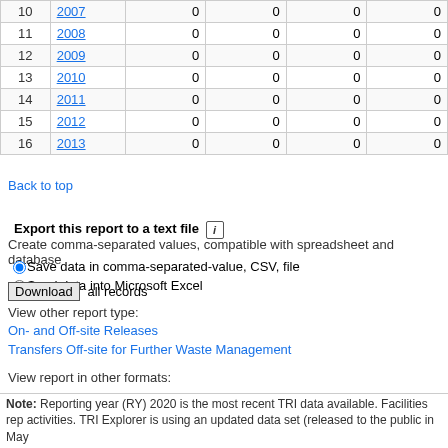| # | Year | Col1 | Col2 | Col3 | Col4 |
| --- | --- | --- | --- | --- | --- |
| 10 | 2007 | 0 | 0 | 0 | 0 |
| 11 | 2008 | 0 | 0 | 0 | 0 |
| 12 | 2009 | 0 | 0 | 0 | 0 |
| 13 | 2010 | 0 | 0 | 0 | 0 |
| 14 | 2011 | 0 | 0 | 0 | 0 |
| 15 | 2012 | 0 | 0 | 0 | 0 |
| 16 | 2013 | 0 | 0 | 0 | 0 |
Back to top
Export this report to a text file
Create comma-separated values, compatible with spreadsheet and database
Save data in comma-separated-value, CSV, file  Send data into Microsoft Excel
Download all records
View other report type:
On- and Off-site Releases
Transfers Off-site for Further Waste Management
View report in other formats:
PDF (Acrobat Reader); or
RTF (Microsoft Word)
Note: Reporting year (RY) 2020 is the most recent TRI data available. Facilities rep activities. TRI Explorer is using an updated data set (released to the public in May